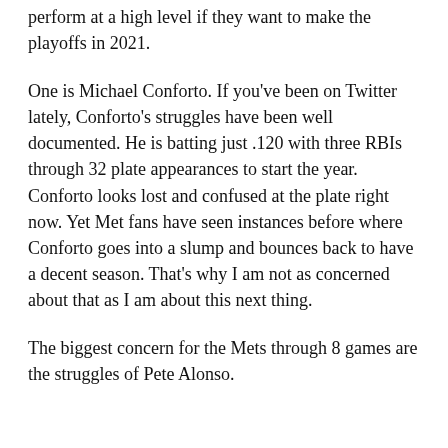perform at a high level if they want to make the playoffs in 2021.
One is Michael Conforto. If you've been on Twitter lately, Conforto's struggles have been well documented. He is batting just .120 with three RBIs through 32 plate appearances to start the year. Conforto looks lost and confused at the plate right now. Yet Met fans have seen instances before where Conforto goes into a slump and bounces back to have a decent season. That's why I am not as concerned about that as I am about this next thing.
The biggest concern for the Mets through 8 games are the struggles of Pete Alonso.